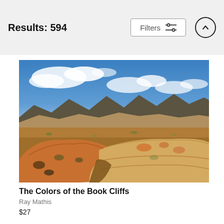Results: 594
[Figure (photo): Landscape photograph of colorful lichen-covered sandstone rocks in the foreground with an expansive desert valley and layered mountain formations under a partly cloudy blue sky — Book Cliffs, Utah]
The Colors of the Book Cliffs
Ray Mathis
$27